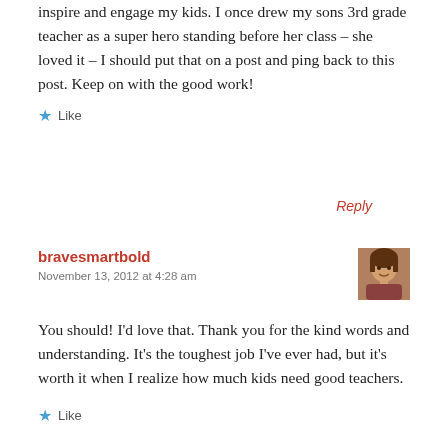inspire and engage my kids. I once drew my sons 3rd grade teacher as a super hero standing before her class – she loved it – I should put that on a post and ping back to this post. Keep on with the good work!
Like
Reply
bravesmartbold
November 13, 2012 at 4:28 am
[Figure (photo): Small avatar photo of a woman with brown hair]
You should! I'd love that. Thank you for the kind words and understanding. It's the toughest job I've ever had, but it's worth it when I realize how much kids need good teachers.
Like